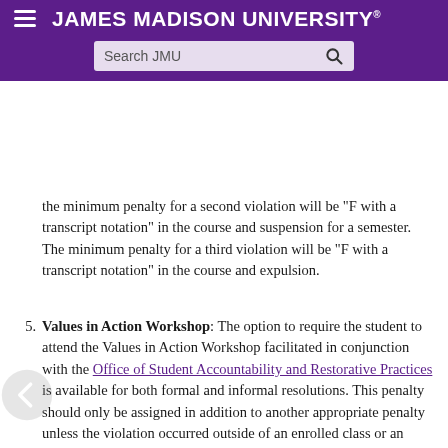JAMES MADISON UNIVERSITY — Search JMU
the minimum penalty for a second violation will be "F with a transcript notation" in the course and suspension for a semester. The minimum penalty for a third violation will be "F with a transcript notation" in the course and expulsion.
5. Values in Action Workshop: The option to require the student to attend the Values in Action Workshop facilitated in conjunction with the Office of Student Accountability and Restorative Practices is available for both formal and informal resolutions. This penalty should only be assigned in addition to another appropriate penalty unless the violation occurred outside of an enrolled class or an appropriate penalty is unavailable. This penalty is assigned based on the judgment of the professor if it is an informal violation or the judgment of